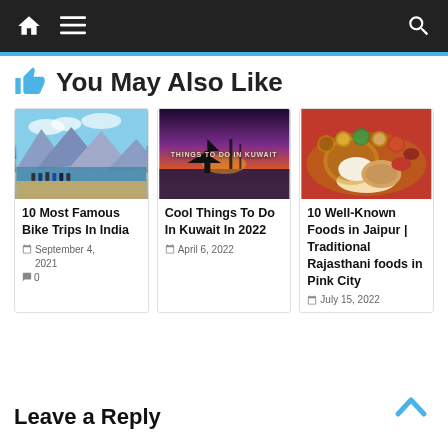Navigation bar with home, menu, and search icons
You May Also Like
[Figure (photo): Group of motorcyclists at a mountain lake landscape]
10 Most Famous Bike Trips In India
September 4, 2021  0
[Figure (photo): Sunset over Kuwait harbor with text overlay: THINGS TO DO IN KUWAIT]
Cool Things To Do In Kuwait In 2022
April 6, 2022
[Figure (photo): Traditional Rajasthani thali food spread with various dishes]
10 Well-Known Foods in Jaipur | Traditional Rajasthani foods in Pink City
July 15, 2022
Leave a Reply